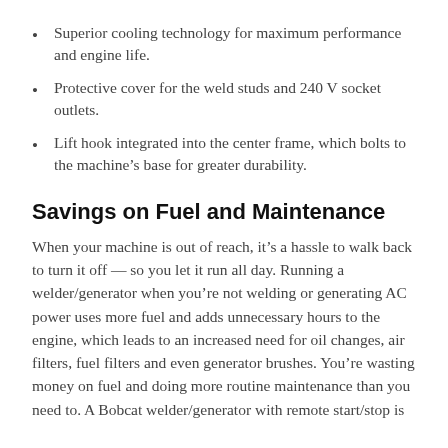Superior cooling technology for maximum performance and engine life.
Protective cover for the weld studs and 240 V socket outlets.
Lift hook integrated into the center frame, which bolts to the machine's base for greater durability.
Savings on Fuel and Maintenance
When your machine is out of reach, it’s a hassle to walk back to turn it off — so you let it run all day. Running a welder/generator when you’re not welding or generating AC power uses more fuel and adds unnecessary hours to the engine, which leads to an increased need for oil changes, air filters, fuel filters and even generator brushes. You’re wasting money on fuel and doing more routine maintenance than you need to. A Bobcat welder/generator with remote start/stop is